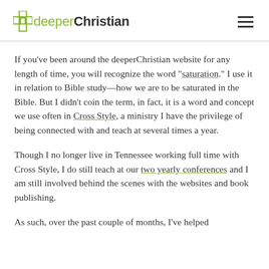deeperChristian
If you’ve been around the deeperChristian website for any length of time, you will recognize the word “saturation.” I use it in relation to Bible study—how we are to be saturated in the Bible. But I didn’t coin the term, in fact, it is a word and concept we use often in Cross Style, a ministry I have the privilege of being connected with and teach at several times a year.
Though I no longer live in Tennessee working full time with Cross Style, I do still teach at our two yearly conferences and I am still involved behind the scenes with the websites and book publishing.
As such, over the past couple of months, I’ve helped